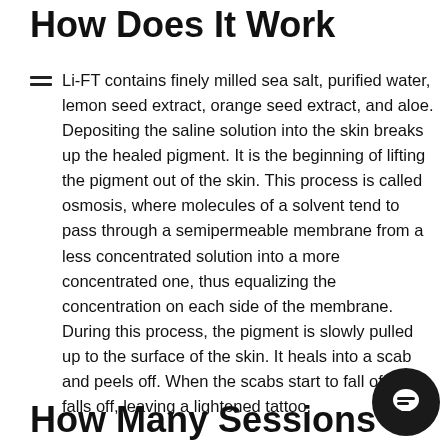How Does It Work
Li-FT contains finely milled sea salt, purified water, lemon seed extract, orange seed extract, and aloe. Depositing the saline solution into the skin breaks up the healed pigment. It is the beginning of lifting the pigment out of the skin. This process is called osmosis, where molecules of a solvent tend to pass through a semipermeable membrane from a less concentrated solution into a more concentrated one, thus equalizing the concentration on each side of the membrane. During this process, the pigment is slowly pulled up to the surface of the skin. It heals into a scab and peels off. When the scabs start to fall off ink falls off, leaving a lightened tattoo.
How Many Sessions I Will